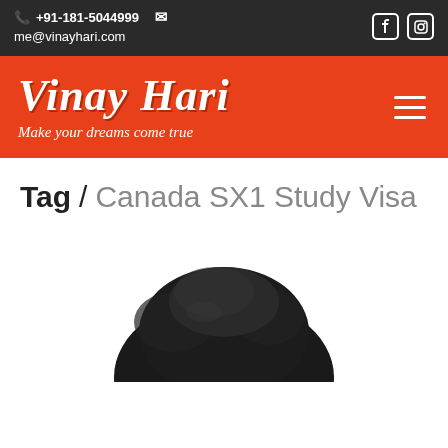+91-181-5044999  me@vinayhari.com
[Figure (logo): Vinay Hari logo with tagline 'Make your dreams come true' on orange background, with hamburger menu icon]
Tag / Canada SX1 Study Visa
[Figure (photo): Top of a person's head with dark hair, partially visible at bottom of page]